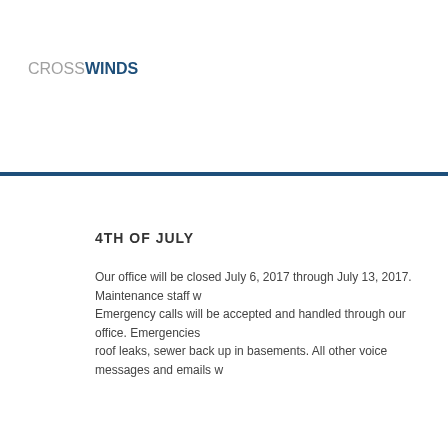CROSSWINDS
4TH OF JULY
Our office will be closed July 6, 2017 through July 13, 2017. Maintenance staff w... Emergency calls will be accepted and handled through our office. Emergencies... roof leaks, sewer back up in basements. All other voice messages and emails w...